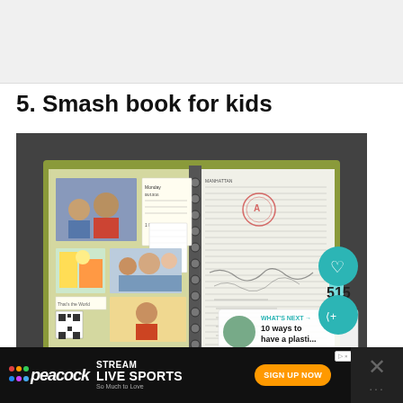5. Smash book for kids
[Figure (photo): Open smash book/scrapbook with photos of children and family members on the left page, and handwritten notes/drawings on the right page. Book has green cover and spiral binding. Social sharing buttons (heart icon, share icon) visible on right edge with count 515. A 'WHAT'S NEXT' overlay in bottom right shows '10 ways to have a plasti...']
[Figure (screenshot): Peacock streaming ad banner at bottom: 'STREAM LIVE SPORTS So Much to Love' with 'SIGN UP NOW' button. Peacock logo with colored dots visible. Close button on right side.]